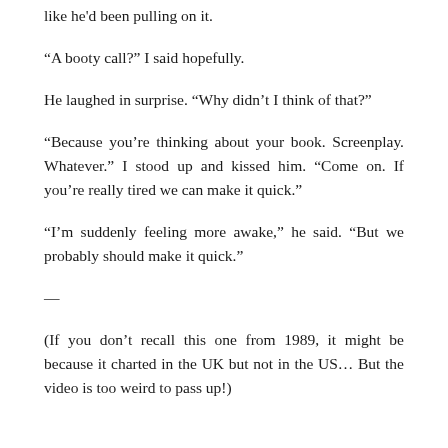like he'd been pulling on it.
“A booty call?” I said hopefully.
He laughed in surprise. “Why didn’t I think of that?”
“Because you’re thinking about your book. Screenplay. Whatever.” I stood up and kissed him. “Come on. If you’re really tired we can make it quick.”
“I’m suddenly feeling more awake,” he said. “But we probably should make it quick.”
—
(If you don’t recall this one from 1989, it might be because it charted in the UK but not in the US… But the video is too weird to pass up!)